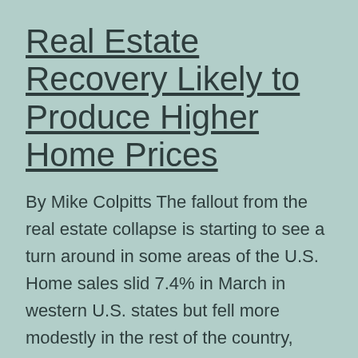Real Estate Recovery Likely to Produce Higher Home Prices
By Mike Colpitts The fallout from the real estate collapse is starting to see a turn around in some areas of the U.S. Home sales slid 7.4% in March in western U.S. states but fell more modestly in the rest of the country, according to the National Association of Realtors. But home prices in some… Continue reading